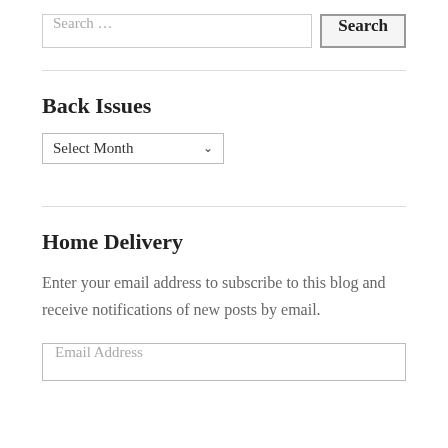[Figure (screenshot): Search input field with placeholder text 'Search …' and a Search button]
Back Issues
[Figure (screenshot): Dropdown select menu with label 'Select Month']
Home Delivery
Enter your email address to subscribe to this blog and receive notifications of new posts by email.
[Figure (screenshot): Email address input field with placeholder text 'Email Address']